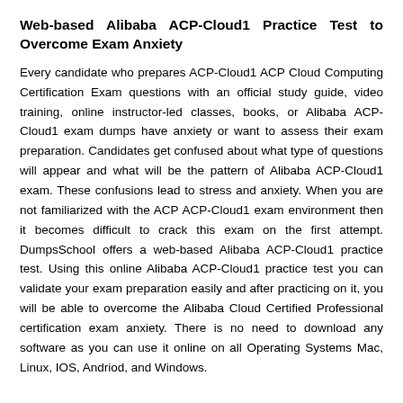Web-based Alibaba ACP-Cloud1 Practice Test to Overcome Exam Anxiety
Every candidate who prepares ACP-Cloud1 ACP Cloud Computing Certification Exam questions with an official study guide, video training, online instructor-led classes, books, or Alibaba ACP-Cloud1 exam dumps have anxiety or want to assess their exam preparation. Candidates get confused about what type of questions will appear and what will be the pattern of Alibaba ACP-Cloud1 exam. These confusions lead to stress and anxiety. When you are not familiarized with the ACP ACP-Cloud1 exam environment then it becomes difficult to crack this exam on the first attempt. DumpsSchool offers a web-based Alibaba ACP-Cloud1 practice test. Using this online Alibaba ACP-Cloud1 practice test you can validate your exam preparation easily and after practicing on it, you will be able to overcome the Alibaba Cloud Certified Professional certification exam anxiety. There is no need to download any software as you can use it online on all Operating Systems Mac, Linux, IOS, Andriod, and Windows.